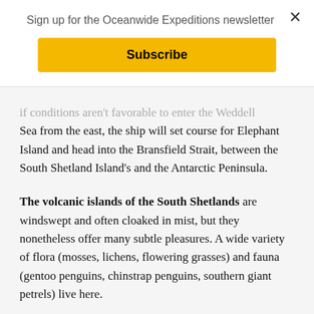Sign up for the Oceanwide Expeditions newsletter
Subscribe
if conditions aren't favorable to enter the Weddell Sea from the east, the ship will set course for Elephant Island and head into the Bransfield Strait, between the South Shetland Island's and the Antarctic Peninsula.
The volcanic islands of the South Shetlands are windswept and often cloaked in mist, but they nonetheless offer many subtle pleasures. A wide variety of flora (mosses, lichens, flowering grasses) and fauna (gentoo penguins, chinstrap penguins, southern giant petrels) live here.
On Half Moon Island, Chinstrap penguins and Weddell seals often haul out onto the beach near